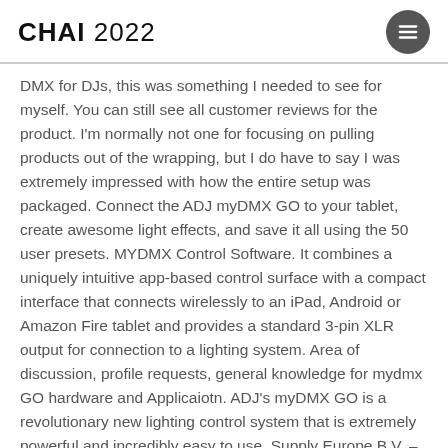CHAI 2022
DMX for DJs, this was something I needed to see for myself. You can still see all customer reviews for the product. I'm normally not one for focusing on pulling products out of the wrapping, but I do have to say I was extremely impressed with how the entire setup was packaged. Connect the ADJ myDMX GO to your tablet, create awesome light effects, and save it all using the 50 user presets. MYDMX Control Software. It combines a uniquely intuitive app-based control surface with a compact interface that connects wirelessly to an iPad, Android or Amazon Fire tablet and provides a standard 3-pin XLR output for connection to a lighting system. Area of discussion, profile requests, general knowledge for mydmx GO hardware and Applicaiotn. ADJ's myDMX GO is a revolutionary new lighting control system that is extremely powerful and incredibly easy to use. Supply Europe B.V. – www.adj.eu – myDMX GO